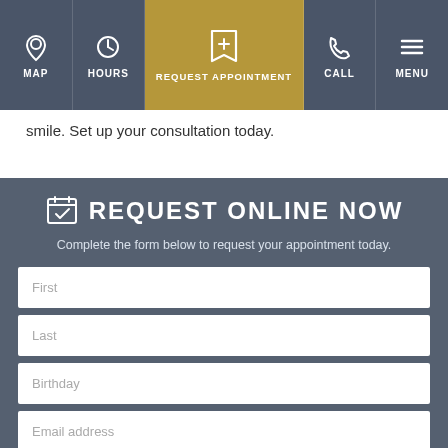MAP | HOURS | REQUEST APPOINTMENT | CALL | MENU
smile. Set up your consultation today.
REQUEST ONLINE NOW
Complete the form below to request your appointment today.
First
Last
Birthday
Email address
Phone #